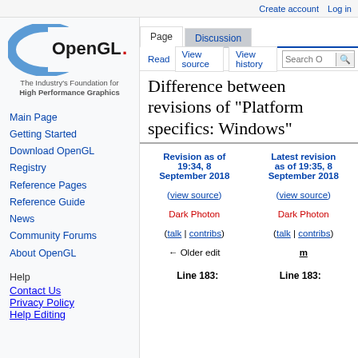Create account  Log in
[Figure (logo): OpenGL logo - The Industry's Foundation for High Performance Graphics]
The Industry's Foundation for
High Performance Graphics
Main Page
Getting Started
Download OpenGL
Registry
Reference Pages
Reference Guide
News
Community Forums
About OpenGL
Help
Contact Us
Privacy Policy
Help Editing
Difference between revisions of "Platform specifics: Windows"
| Revision as of 19:34, 8 September 2018 | Latest revision as of 19:35, 8 September 2018 |
| --- | --- |
| (view source) | (view source) |
| Dark Photon | Dark Photon |
| (talk | contribs) | (talk | contribs) |
| ← Older edit | m |
Line 183:	Line 183: